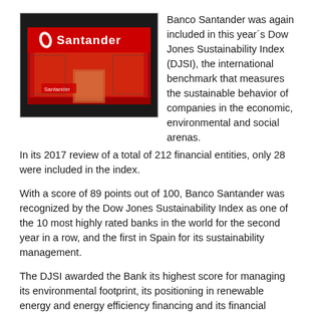[Figure (photo): Photo of a Banco Santander branch storefront with red signage and the Santander logo (flame symbol) visible on a lit red background.]
Banco Santander was again included in this year´s Dow Jones Sustainability Index (DJSI), the international benchmark that measures the sustainable behavior of companies in the economic, environmental and social arenas.
In its 2017 review of a total of 212 financial entities, only 28 were included in the index.
With a score of 89 points out of 100, Banco Santander was recognized by the Dow Jones Sustainability Index as one of the 10 most highly rated banks in the world for the second year in a row, and the first in Spain for its sustainability management.
The DJSI awarded the Bank its highest score for managing its environmental footprint, its positioning in renewable energy and energy efficiency financing and its financial inclusion programs, among other factors.